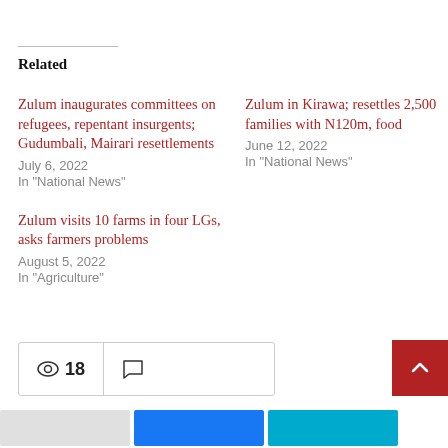Related
Zulum inaugurates committees on refugees, repentant insurgents; Gudumbali, Mairari resettlements
July 6, 2022
In "National News"
Zulum in Kirawa; resettles 2,500 families with N120m, food
June 12, 2022
In "National News"
Zulum visits 10 farms in four LGs, asks farmers problems
August 5, 2022
In "Agriculture"
👁 18 💬